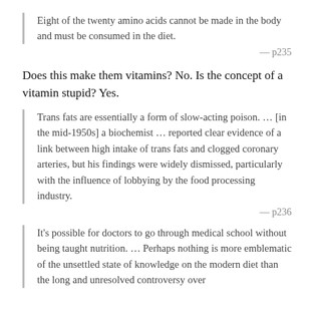Eight of the twenty amino acids cannot be made in the body and must be consumed in the diet.
— p235
Does this make them vitamins? No. Is the concept of a vitamin stupid? Yes.
Trans fats are essentially a form of slow-acting poison. … [in the mid-1950s] a biochemist … reported clear evidence of a link between high intake of trans fats and clogged coronary arteries, but his findings were widely dismissed, particularly with the influence of lobbying by the food processing industry.
— p236
It's possible for doctors to go through medical school without being taught nutrition. … Perhaps nothing is more emblematic of the unsettled state of knowledge on the modern diet than the long and unresolved controversy over